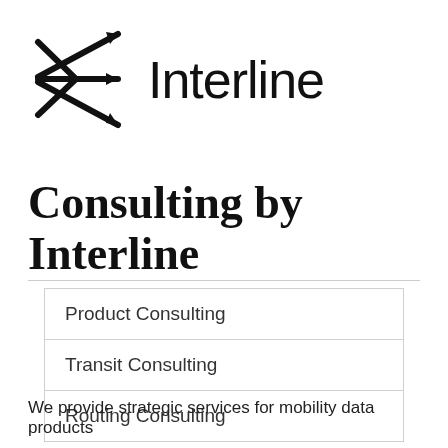[Figure (logo): Interline logo: a stylized X-shaped arrow symbol (crossing arrows pointing outward in four diagonal directions) next to the word 'Interline' in large sans-serif font]
Consulting by Interline
| Product Consulting |
| Transit Consulting |
| Routing Consulting |
We provide strategic services for mobility data products